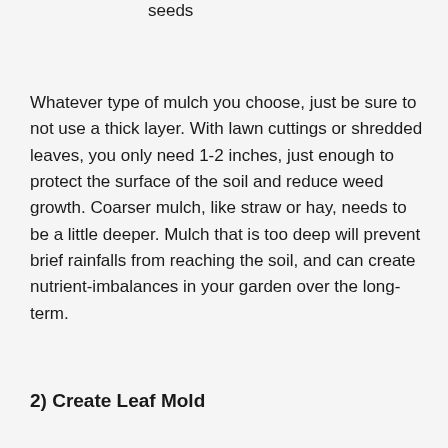they are often full of grain or weed seeds
Whatever type of mulch you choose, just be sure to not use a thick layer. With lawn cuttings or shredded leaves, you only need 1-2 inches, just enough to protect the surface of the soil and reduce weed growth. Coarser mulch, like straw or hay, needs to be a little deeper. Mulch that is too deep will prevent brief rainfalls from reaching the soil, and can create nutrient-imbalances in your garden over the long-term.
2) Create Leaf Mold